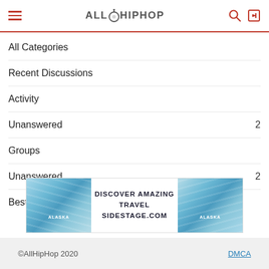ALL HIP HOP
All Categories
Recent Discussions
Activity
Unanswered  2
Groups
Unanswered  2
Best Of
[Figure (illustration): Travel advertisement banner showing Alaska glacier imagery with text: DISCOVER AMAZING TRAVEL SIDESTAGE.COM]
©AllHipHop 2020   DMCA